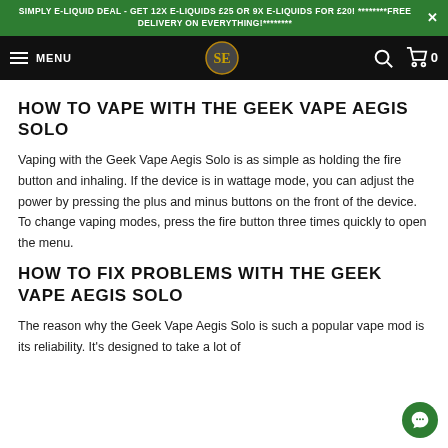SIMPLY E-LIQUID DEAL - GET 12X E-LIQUIDS £25 OR 9X E-LIQUIDS FOR £20! ********FREE DELIVERY ON EVERYTHING!********
MENU
HOW TO VAPE WITH THE GEEK VAPE AEGIS SOLO
Vaping with the Geek Vape Aegis Solo is as simple as holding the fire button and inhaling. If the device is in wattage mode, you can adjust the power by pressing the plus and minus buttons on the front of the device. To change vaping modes, press the fire button three times quickly to open the menu.
HOW TO FIX PROBLEMS WITH THE GEEK VAPE AEGIS SOLO
The reason why the Geek Vape Aegis Solo is such a popular vape mod is its reliability. It's designed to take a lot of